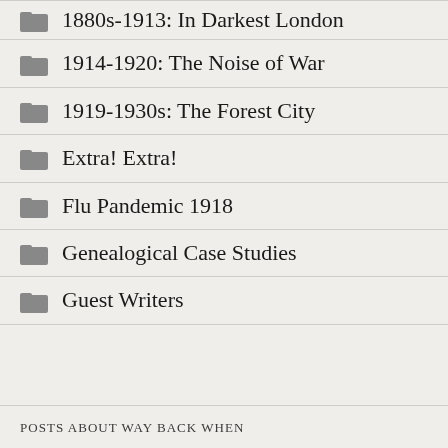1880s-1913: In Darkest London
1914-1920: The Noise of War
1919-1930s: The Forest City
Extra! Extra!
Flu Pandemic 1918
Genealogical Case Studies
Guest Writers
POSTS ABOUT WAY BACK WHEN